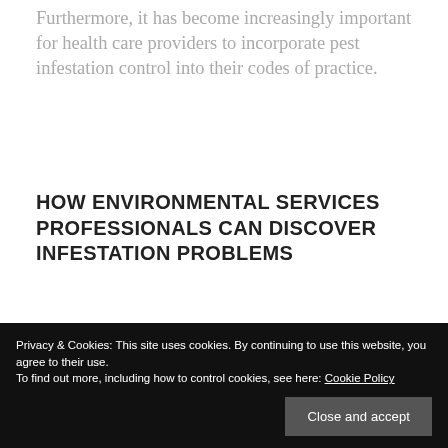Furthermore, it has become increasingly important for health care providers to incorporate pest infestation control into their codes of practice.
HOW ENVIRONMENTAL SERVICES PROFESSIONALS CAN DISCOVER INFESTATION PROBLEMS
Pest prevention and control is a
Privacy & Cookies: This site uses cookies. By continuing to use this website, you agree to their use.
To find out more, including how to control cookies, see here: Cookie Policy
Close and accept